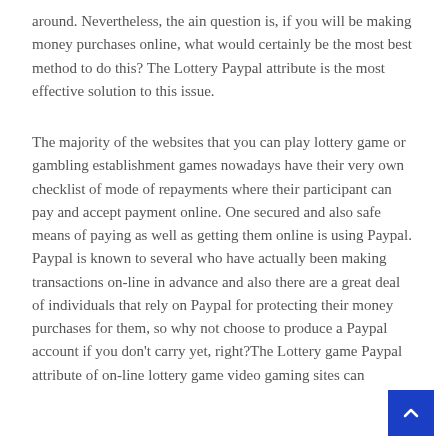around. Nevertheless, the ain question is, if you will be making money purchases online, what would certainly be the most best method to do this? The Lottery Paypal attribute is the most effective solution to this issue.
The majority of the websites that you can play lottery game or gambling establishment games nowadays have their very own checklist of mode of repayments where their participant can pay and accept payment online. One secured and also safe means of paying as well as getting them online is using Paypal. Paypal is known to several who have actually been making transactions on-line in advance and also there are a great deal of individuals that rely on Paypal for protecting their money purchases for them, so why not choose to produce a Paypal account if you don't carry yet, right?The Lottery game Paypal attribute of on-line lottery game video gaming sites can